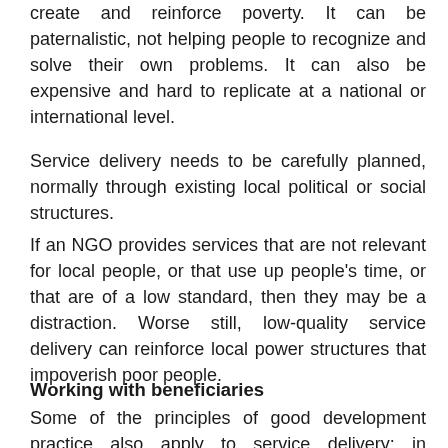create and reinforce poverty. It can be paternalistic, not helping people to recognize and solve their own problems. It can also be expensive and hard to replicate at a national or international level.
Service delivery needs to be carefully planned, normally through existing local political or social structures.
If an NGO provides services that are not relevant for local people, or that use up people's time, or that are of a low standard, then they may be a distraction. Worse still, low-quality service delivery can reinforce local power structures that impoverish poor people.
Working with beneficiaries
Some of the principles of good development practice also apply to service delivery: in particular, maintaining a dialogue and working respectfully with beneficiaries. Outsiders can suggest technical solutions to problems